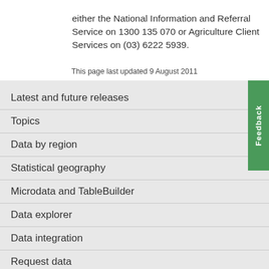either the National Information and Referral Service on 1300 135 070 or Agriculture Client Services on (03) 6222 5939.
This page last updated 9 August 2011
Latest and future releases
Topics
Data by region
Statistical geography
Microdata and TableBuilder
Data explorer
Data integration
Request data